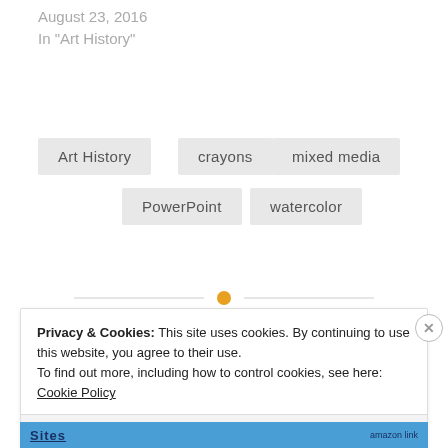August 23, 2016
In "Art History"
Art History
crayons
mixed media
PowerPoint
watercolor
Privacy & Cookies: This site uses cookies. By continuing to use this website, you agree to their use.
To find out more, including how to control cookies, see here: Cookie Policy
Close and accept